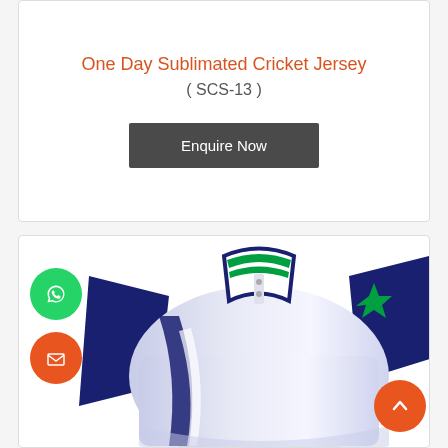One Day Sublimated Cricket Jersey
( SCS-13 )
Enquire Now
[Figure (illustration): Cricket jersey polo shirt with navy blue sleeves and collar, white/light blue body with curved dark stripe, green accent on collar and right sleeve star/logo graphic]
[Figure (illustration): Green circular WhatsApp chat icon button]
[Figure (illustration): Orange circular email envelope icon button]
[Figure (illustration): Orange circular back-to-top arrow icon button]